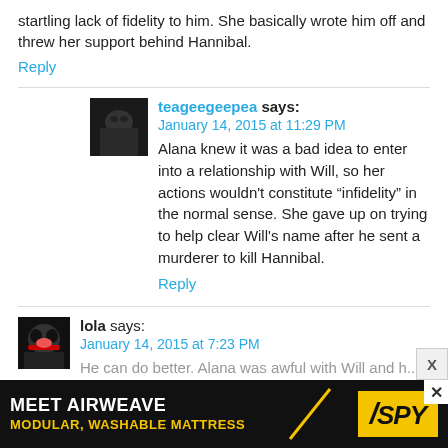startling lack of fidelity to him. She basically wrote him off and threw her support behind Hannibal.
Reply
teageegeepea says:
January 14, 2015 at 11:29 PM
Alana knew it was a bad idea to enter into a relationship with Will, so her actions wouldn't constitute “infidelity” in the normal sense. She gave up on trying to help clear Will's name after he sent a murderer to kill Hannibal.
Reply
[Figure (photo): User avatar for teageegeepea - dark image]
lola says:
January 14, 2015 at 7:23 PM
He can do better. Alana was awful with Will and h...
[Figure (photo): User avatar for lola - woman in cat mask costume]
[Figure (infographic): Advertisement banner: MEET AIRWEAVE - MODULAR, WASHABLE MATTRESS with SPY logo in yellow on black background]